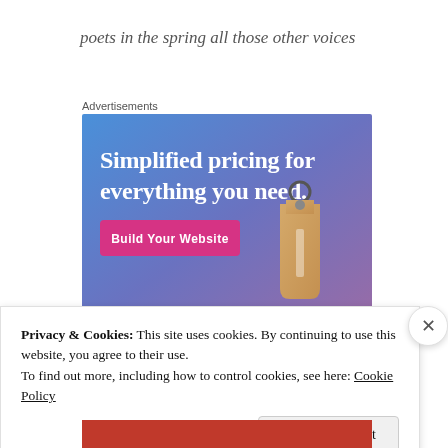poets in the spring all those other voices
Advertisements
[Figure (illustration): Advertisement banner with gradient blue-purple background showing text 'Simplified pricing for everything you need.' with a pink 'Build Your Website' button and a 3D price tag graphic]
Privacy & Cookies: This site uses cookies. By continuing to use this website, you agree to their use.
To find out more, including how to control cookies, see here: Cookie Policy
Close and accept